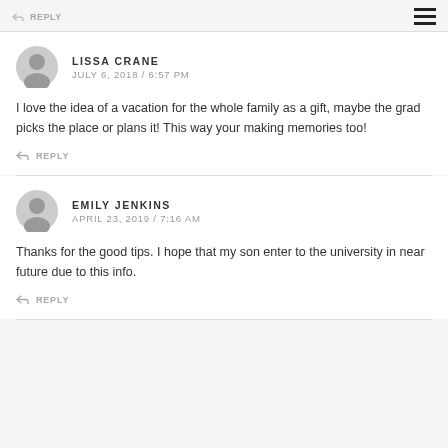REPLY
LISSA CRANE
JULY 6, 2018 / 6:57 PM
I love the idea of a vacation for the whole family as a gift, maybe the grad picks the place or plans it! This way your making memories too!
REPLY
EMILY JENKINS
APRIL 23, 2019 / 7:16 AM
Thanks for the good tips. I hope that my son enter to the university in near future due to this info.
REPLY